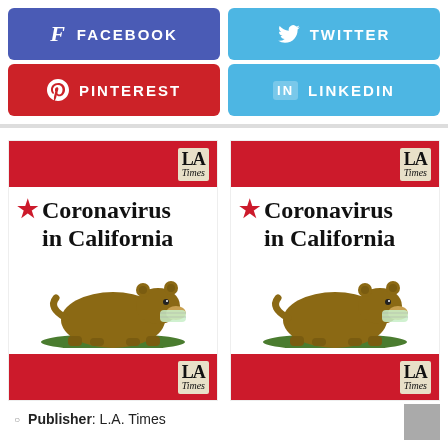[Figure (screenshot): Social media share buttons: Facebook (blue-purple), Twitter (light blue), Pinterest (red), LinkedIn (light blue)]
[Figure (screenshot): Two LA Times 'Coronavirus in California' article cards side by side, each showing a red header with LA Times logo, the title 'Coronavirus in California' with a star and California bear wearing a mask, and a red footer with LA Times logo]
Publisher: L.A. Times